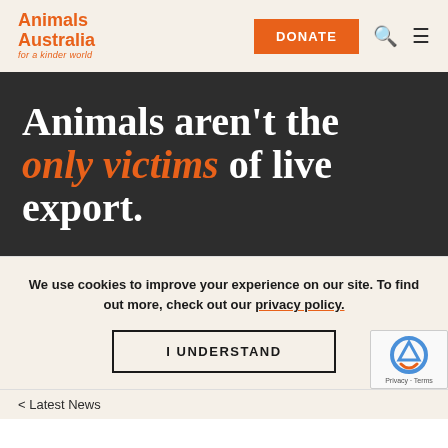Animals Australia for a kinder world | DONATE
Animals aren't the only victims of live export.
We use cookies to improve your experience on our site. To find out more, check out our privacy policy.
I UNDERSTAND
< Latest News